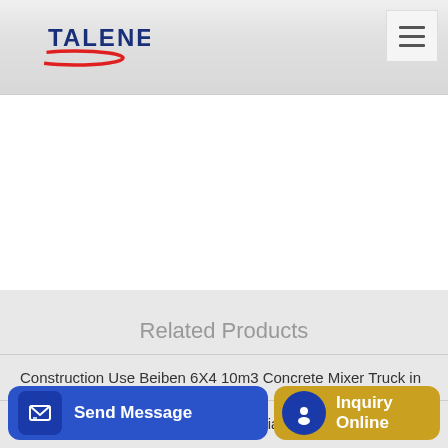TALENET
Related Products
Construction Use Beiben 6X4 10m3 Concrete Mixer Truck in
Jual Batching Plant 25 m3 di Indonesia Jual Stone
crete
Send Message
Inquiry Online